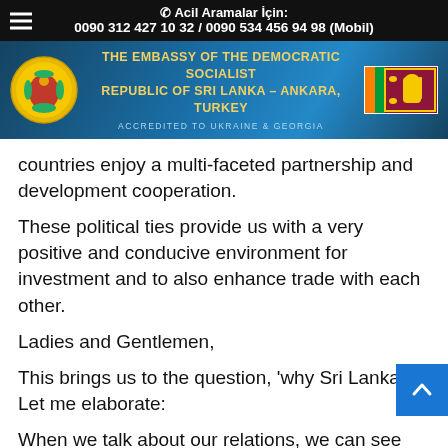☎ Acil Aramalar İçin:
0090 312 427 10 32 / 0090 534 456 94 98 (Mobil)
[Figure (illustration): Embassy of the Democratic Socialist Republic of Sri Lanka - Ankara, Turkey banner with Sri Lanka coat of arms logo on the left, text in the center, and Sri Lanka flag on the right]
countries enjoy a multi-faceted partnership and development cooperation.
These political ties provide us with a very positive and conducive environment for investment and to also enhance trade with each other.
Ladies and Gentlemen,
This brings us to the question, 'why Sri Lanka?' Let me elaborate:
When we talk about our relations, we can see that business ties between Sri Lanka and India are rooted deep, linked, and date back to many millennia.
Sri Lanka is one of India's largest trading partners in the SAARC Region. India in turn is Sri Lanka's largest trade pa... globally. Trade between the two countries grew rapidly particularly after the entry into force of the India-Sri Lanka...